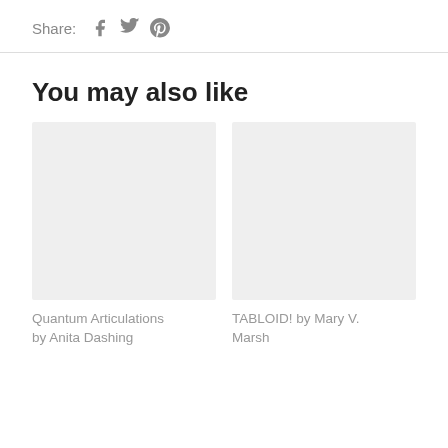Share:
[Figure (illustration): Social media share icons: Facebook, Twitter, Pinterest]
You may also like
[Figure (photo): Placeholder image for Quantum Articulations book]
Quantum Articulations by Anita Dashing
[Figure (photo): Placeholder image for TABLOID! by Mary V. Marsh]
TABLOID! by Mary V. Marsh